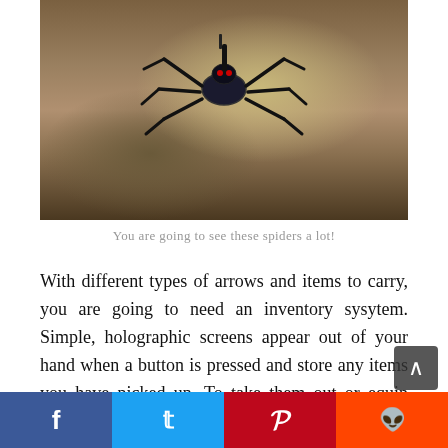[Figure (screenshot): A game screenshot showing a mechanical spider robot enemy in an indoor environment with wooden floors and futuristic setting]
You are going to see these spiders a lot!
With different types of arrows and items to carry, you are going to need an inventory sysytem. Simple, holographic screens appear out of your hand when a button is pressed and store any items you have picked up. To take them out or equip them you just grab the item and pull it out of the inventory. It's super simple and keeps from breaking the immersion in game. Back at your home base, where you choose the next mission or any of the previous ones, there is also an upgrade station where you can spend RP, the games pseudo currency droped after dispatching enemies or hidden around each stage, to